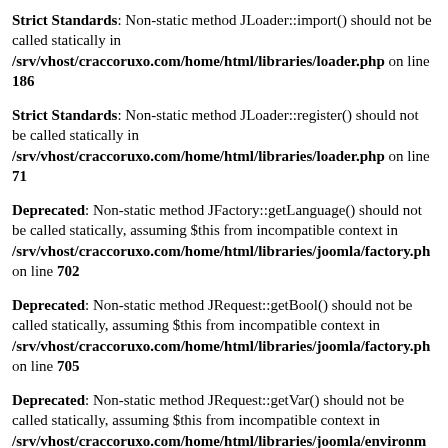Strict Standards: Non-static method JLoader::import() should not be called statically in /srv/vhost/craccoruxo.com/home/html/libraries/loader.php on line 186
Strict Standards: Non-static method JLoader::register() should not be called statically in /srv/vhost/craccoruxo.com/home/html/libraries/loader.php on line 71
Deprecated: Non-static method JFactory::getLanguage() should not be called statically, assuming $this from incompatible context in /srv/vhost/craccoruxo.com/home/html/libraries/joomla/factory.php on line 702
Deprecated: Non-static method JRequest::getBool() should not be called statically, assuming $this from incompatible context in /srv/vhost/craccoruxo.com/home/html/libraries/joomla/factory.php on line 705
Deprecated: Non-static method JRequest::getVar() should not be called statically, assuming $this from incompatible context in /srv/vhost/craccoruxo.com/home/html/libraries/joomla/environm...